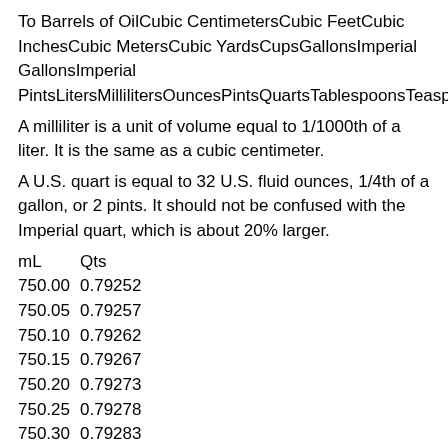To Barrels of OilCubic CentimetersCubic FeetCubic InchesCubic MetersCubic YardsCupsGallonsImperial GallonsImperial PintsLitersMillilitersOuncesPintsQuartsTablespoonsTeaspoons
A milliliter is a unit of volume equal to 1/1000th of a liter. It is the same as a cubic centimeter.
A U.S. quart is equal to 32 U.S. fluid ounces, 1/4th of a gallon, or 2 pints. It should not be confused with the Imperial quart, which is about 20% larger.
| mL | Qts |
| --- | --- |
| 750.00 | 0.79252 |
| 750.05 | 0.79257 |
| 750.10 | 0.79262 |
| 750.15 | 0.79267 |
| 750.20 | 0.79273 |
| 750.25 | 0.79278 |
| 750.30 | 0.79283 |
| 750.35 | 0.79289 |
| 750.40 | 0.79294 |